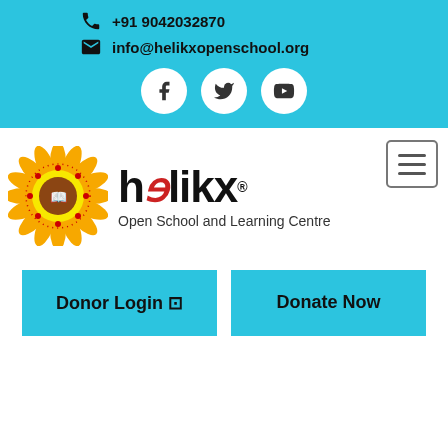+91 9042032870
info@helikxopenschool.org
[Figure (logo): Social media icons: Facebook, Twitter, YouTube in white circles on cyan background]
[Figure (logo): Helikx Open School and Learning Centre logo with sunflower circular emblem]
Donor Login
Donate Now